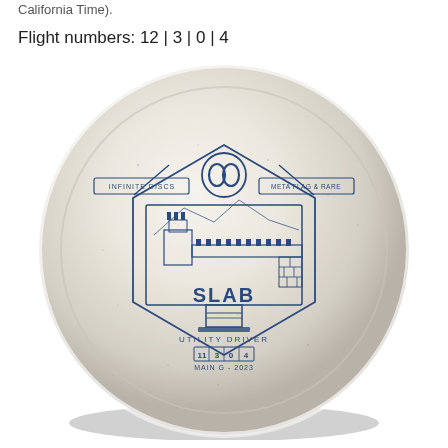California Time).
Flight numbers: 12 | 3 | 0 | 4
[Figure (photo): A clear/white glitter disc golf disc (Infinite Discs Slab Utility Driver) with a blue stamp showing the Great Wall of China illustration, hexagonal border design, Infinite Discs logo (figure-8 symbol), text reading SLAB, UTILITY DRIVER, flight numbers 11|3|0|4, and MAIN G - 2023. The disc has a sparkly translucent appearance with a slight shadow below.]